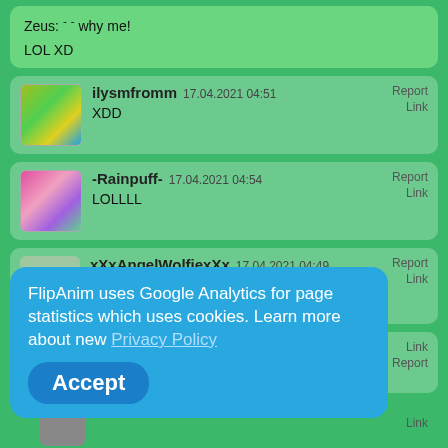Zeus: - - why me!
LOL XD
ilysmfromm 17.04.2021 04:51 Report Link
XDD
-Rainpuff- 17.04.2021 04:54 Report Link
LOLLLL
xXxAngelWolfiexXx 17.04.2021 04:49 Report Link
WOAH!!
SO SMOOTH!!!!!!!!!
xXxAngelWolfiexXx 17.04.2021 13:54 Link Report
YOU GOT A FEATURE
FlipAnim uses Google Analytics for page statistics which uses cookies. Learn more about new Privacy Policy
Accept